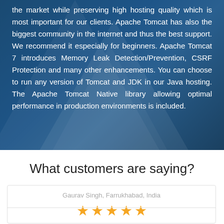the market while preserving high hosting quality which is most important for our clients. Apache Tomcat has also the biggest community in the internet and thus the best support. We recommend it especially for beginners. Apache Tomcat 7 introduces Memory Leak Detection/Prevention, CSRF Protection and many other enhancements. You can choose to run any version of Tomcat and JDK in our Java hosting. The Apache Tomcat Native library allowing optimal performance in production environments is included.
What customers are saying?
Gaurav Singh, Farrukhabad, India